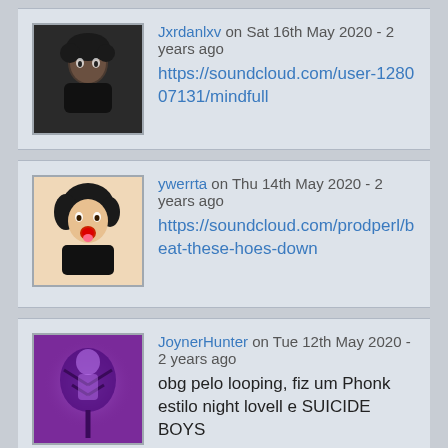Jxrdanlxv on Sat 16th May 2020 - 2 years ago
https://soundcloud.com/user-128007131/mindfull
ywerrta on Thu 14th May 2020 - 2 years ago
https://soundcloud.com/prodperl/beat-these-hoes-down
JoynerHunter on Tue 12th May 2020 - 2 years ago
obg pelo looping, fiz um Phonk estilo night lovell e SUICIDE BOYS
https://soundcloud.com/erick-dhunter/idm-phonk-night-lovell-x-uicide-boy-dhunter-prod-x-allem-art